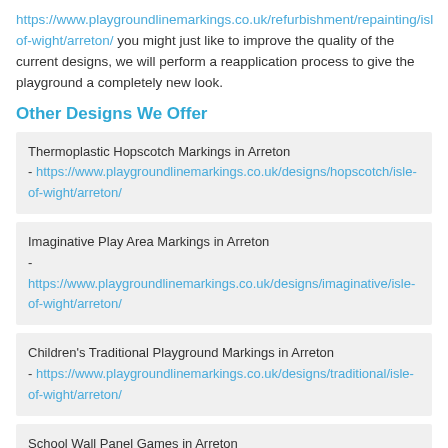https://www.playgroundlinemarkings.co.uk/refurbishment/repainting/isle-of-wight/arreton/ you might just like to improve the quality of the current designs, we will perform a reapplication process to give the playground a completely new look.
Other Designs We Offer
Thermoplastic Hopscotch Markings in Arreton - https://www.playgroundlinemarkings.co.uk/designs/hopscotch/isle-of-wight/arreton/
Imaginative Play Area Markings in Arreton - https://www.playgroundlinemarkings.co.uk/designs/imaginative/isle-of-wight/arreton/
Children's Traditional Playground Markings in Arreton - https://www.playgroundlinemarkings.co.uk/designs/traditional/isle-of-wight/arreton/
School Wall Panel Games in Arreton